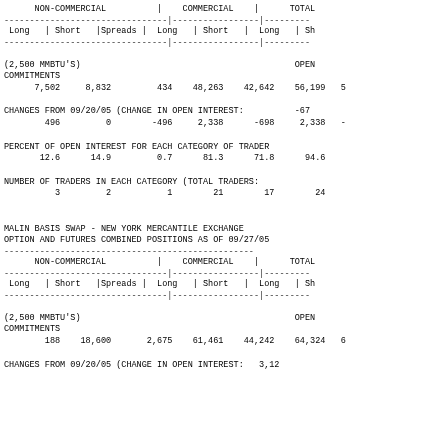| NON-COMMERCIAL Long | NON-COMMERCIAL Short | NON-COMMERCIAL Spreads | COMMERCIAL Long | COMMERCIAL Short | TOTAL Long | TOTAL Short |
| --- | --- | --- | --- | --- | --- | --- |
| 7,502 | 8,832 | 434 | 48,263 | 42,642 | 56,199 | 5... |
| 496 | 0 | -496 | 2,338 | -698 | 2,338 | -... |
| 12.6 | 14.9 | 0.7 | 81.3 | 71.8 | 94.6 |  |
| 3 | 2 | 1 | 21 | 17 | 24 |  |
CHANGES FROM 09/20/05 (CHANGE IN OPEN INTEREST: -67
PERCENT OF OPEN INTEREST FOR EACH CATEGORY OF TRADER
NUMBER OF TRADERS IN EACH CATEGORY (TOTAL TRADERS:
MALIN BASIS SWAP - NEW YORK MERCANTILE EXCHANGE
OPTION AND FUTURES COMBINED POSITIONS AS OF 09/27/05
| NON-COMMERCIAL Long | NON-COMMERCIAL Short | NON-COMMERCIAL Spreads | COMMERCIAL Long | COMMERCIAL Short | TOTAL Long | TOTAL Short |
| --- | --- | --- | --- | --- | --- | --- |
| 188 | 18,600 | 2,675 | 61,461 | 44,242 | 64,324 | 6... |
CHANGES FROM 09/20/05 (CHANGE IN OPEN INTEREST: 3,12